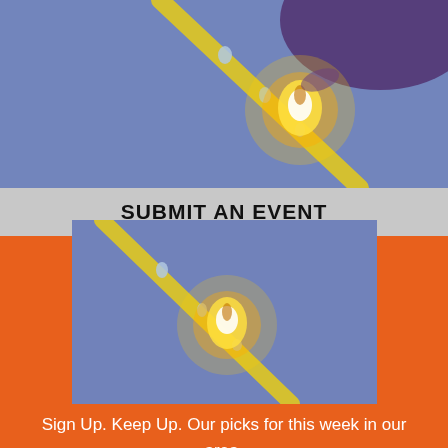[Figure (photo): Close-up photo of a firefly or glowing insect on a plant stem against a blue-purple background, showing bright yellow-orange glow]
SUBMIT AN EVENT
[Figure (photo): Second instance of the firefly/glowing insect photo, partially overlapping the orange background section]
Sign Up. Keep Up. Our picks for this week in our area.
I'M INTERESTED!